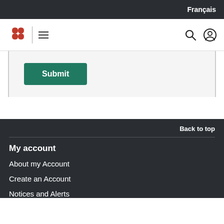Français
[Figure (logo): Government of Canada logo (red maple leaf symbol) with hamburger menu icon, search icon, and user account icon in navigation bar]
[Figure (screenshot): Green Submit button on light grey form background]
Back to top
My account
About my Account
Create an Account
Notices and Alerts